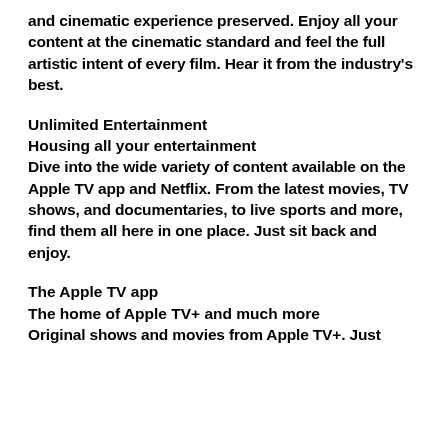and cinematic experience preserved. Enjoy all your content at the cinematic standard and feel the full artistic intent of every film. Hear it from the industry's best.
Unlimited Entertainment
Housing all your entertainment
Dive into the wide variety of content available on the Apple TV app and Netflix. From the latest movies, TV shows, and documentaries, to live sports and more, find them all here in one place. Just sit back and enjoy.
The Apple TV app
The home of Apple TV+ and much more
Original shows and movies from Apple TV+. Just